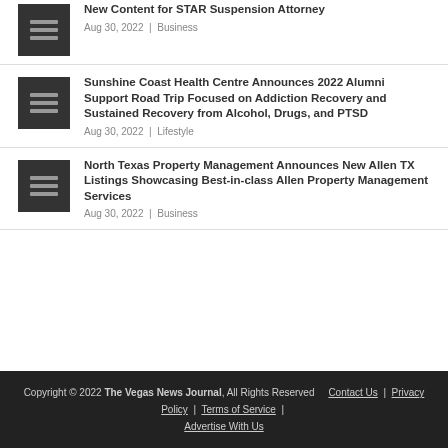New Content for STAR Suspension Attorney | Aug 30, 2022 | Business
Sunshine Coast Health Centre Announces 2022 Alumni Support Road Trip Focused on Addiction Recovery and Sustained Recovery from Alcohol, Drugs, and PTSD | Aug 30, 2022 | Lifestyle
North Texas Property Management Announces New Allen TX Listings Showcasing Best-in-class Allen Property Management Services | Aug 30, 2022 | Business
Copyright © 2022 The Vegas News Journal, All Rights Reserved   Contact Us | Privacy Policy | Terms of Service | Advertise With Us